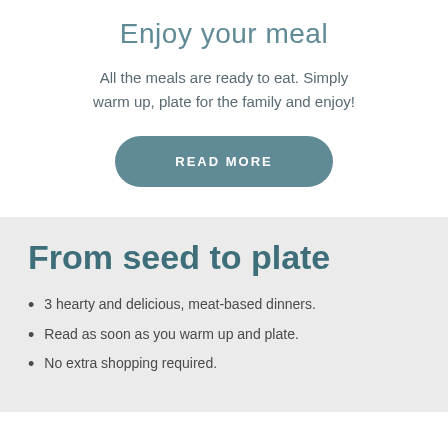Enjoy your meal
All the meals are ready to eat. Simply warm up, plate for the family and enjoy!
READ MORE
From seed to plate
3 hearty and delicious, meat-based dinners.
Read as soon as you warm up and plate.
No extra shopping required.